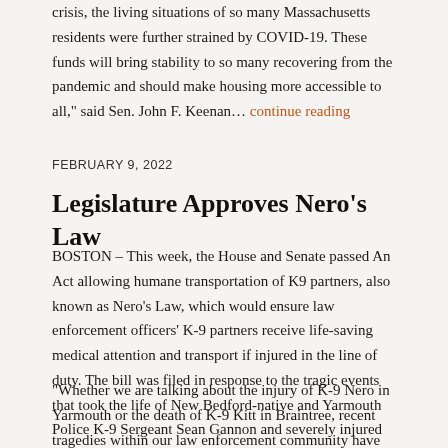crisis, the living situations of so many Massachusetts residents were further strained by COVID-19. These funds will bring stability to so many recovering from the pandemic and should make housing more accessible to all," said Sen. John F. Keenan… continue reading
FEBRUARY 9, 2022
Legislature Approves Nero's Law
BOSTON – This week, the House and Senate passed An Act allowing humane transportation of K9 partners, also known as Nero's Law, which would ensure law enforcement officers' K-9 partners receive life-saving medical attention and transport if injured in the line of duty. The bill was filed in response to the tragic events that took the life of New Bedford-native and Yarmouth Police K-9 Sergeant Sean Gannon and severely injured his K-9 partner, Nero.
"Whether we are talking about the injury of K-9 Nero in Yarmouth or the death of K-9 Kitt in Braintree, recent tragedies within our law enforcement community have demonstrated the serious need for